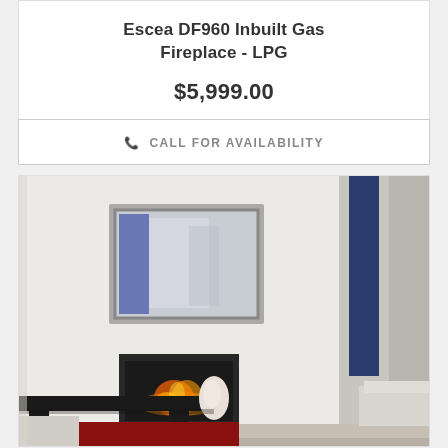Escea DF960 Inbuilt Gas Fireplace - LPG
$5,999.00
CALL FOR AVAILABILITY
[Figure (photo): Modern living room with an Escea inbuilt gas fireplace set into a white wall, a dark-framed rectangular mirror above it, a low dark coffee table in the foreground, a red rug, and white seating. Blue accent visible through doorway on the right.]